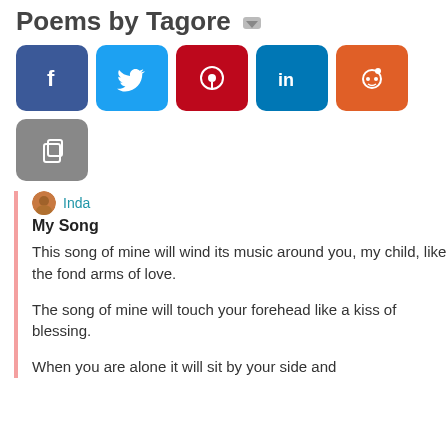Poems by Tagore
[Figure (screenshot): Social media sharing buttons: Facebook (blue), Twitter (light blue), Pinterest (red), LinkedIn (teal), Reddit (orange), and a copy button (gray)]
Inda
My Song
This song of mine will wind its music around you, my child, like the fond arms of love.
The song of mine will touch your forehead like a kiss of blessing.
When you are alone it will sit by your side and